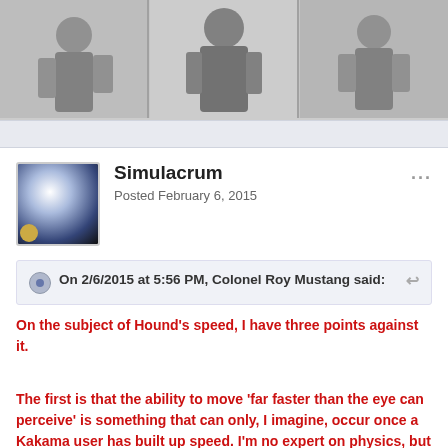[Figure (illustration): Banner with three fantasy character illustrations in black and white/grayscale, showing armored or robed figures]
Simulacrum
Posted February 6, 2015
On 2/6/2015 at 5:56 PM, Colonel Roy Mustang said:
On the subject of Hound's speed, I have three points against it.
The first is that the ability to move 'far faster than the eye can perceive' is something that can only, I imagine, occur once a Kakama user has built up speed. I'm no expert on physics, but I'm fairly certain that bodies tend to accelerate, rather than instantly achieving a